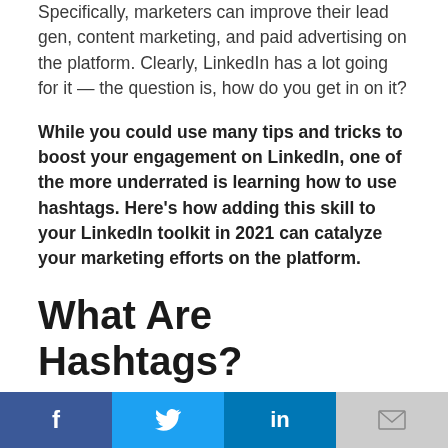Specifically, marketers can improve their lead gen, content marketing, and paid advertising on the platform. Clearly, LinkedIn has a lot going for it — the question is, how do you get in on it?
While you could use many tips and tricks to boost your engagement on LinkedIn, one of the more underrated is learning how to use hashtags. Here's how adding this skill to your LinkedIn toolkit in 2021 can catalyze your marketing efforts on the platform.
What Are Hashtags?
Hashtags are a marketer's best friend. Way back